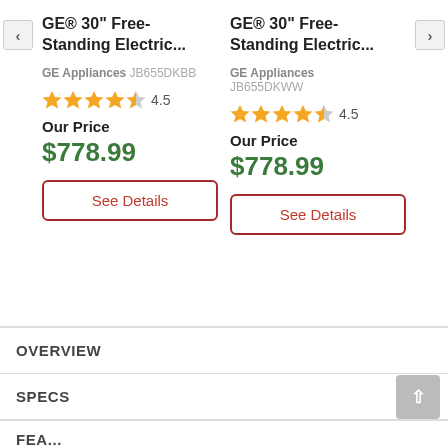GE® 30" Free-Standing Electric...
GE Appliances JB655DKBB
★★★★½ 4.5
Our Price
$778.99
See Details
GE® 30" Free-Standing Electric...
GE Appliances JB655DKWW
★★★★½ 4.5
Our Price
$778.99
See Details
OVERVIEW
SPECS